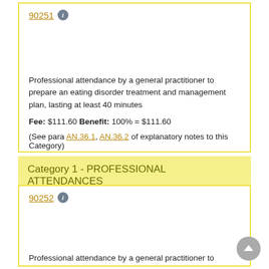90251
Professional attendance by a general practitioner to prepare an eating disorder treatment and management plan, lasting at least 40 minutes
Fee: $111.60 Benefit: 100% = $111.60
(See para AN.36.1, AN.36.2 of explanatory notes to this Category)
Category 1 - PROFESSIONAL ATTENDANCES
90252
Professional attendance by a general practitioner to prepare an eating